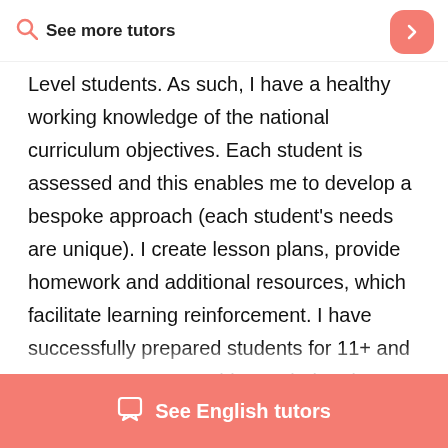See more tutors
Level students. As such, I have a healthy working knowledge of the national curriculum objectives. Each student is assessed and this enables me to develop a bespoke approach (each student's needs are unique). I create lesson plans, provide homework and additional resources, which facilitate learning reinforcement. I have successfully prepared students for 11+ and entrance exams, teaching verbal and non verbal reasoning from scratch. I am experienced in Sats
See English tutors